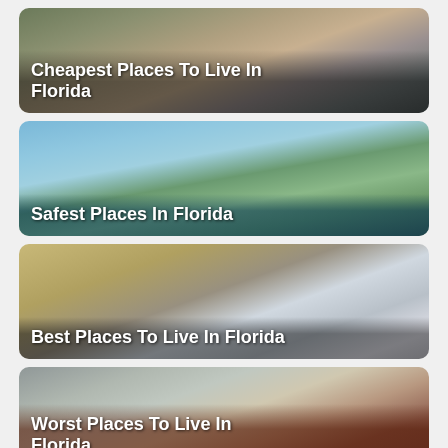[Figure (photo): Card with photo of historic buildings with trees, overlaid text: Cheapest Places To Live In Florida]
[Figure (photo): Card with photo of trees against blue sky, overlaid text: Safest Places In Florida]
[Figure (photo): Card with photo of brick buildings and cloudy sky, overlaid text: Best Places To Live In Florida]
[Figure (photo): Card with photo of street with utility poles and brick buildings, overlaid text: Worst Places To Live In Florida]